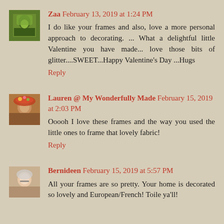[Figure (photo): Avatar photo of Zaa, a person in green clothing outdoors]
Zaa February 13, 2019 at 1:24 PM
I do like your frames and also, love a more personal approach to decorating. ... What a delightful little Valentine you have made... love those bits of glitter....SWEET...Happy Valentine's Day ...Hugs
Reply
[Figure (photo): Avatar photo of Lauren, a woman wearing a floral hat]
Lauren @ My Wonderfully Made February 15, 2019 at 2:03 PM
Ooooh I love these frames and the way you used the little ones to frame that lovely fabric!
Reply
[Figure (photo): Avatar photo of Bernideen, a woman with glasses]
Bernideen February 15, 2019 at 5:57 PM
All your frames are so pretty. Your home is decorated so lovely and European/French! Toile ya'll!